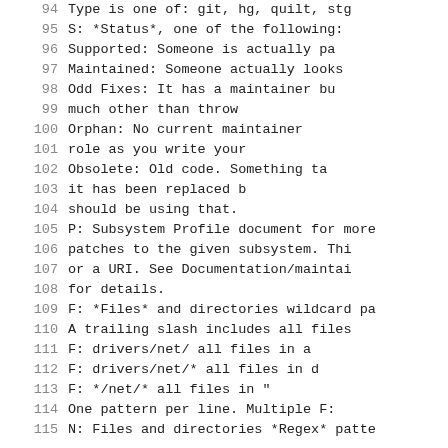Line 94: Type is one of: git, hg, quilt, stg
Line 95: S: *Status*, one of the following:
Line 96: Supported: Someone is actually pa
Line 97: Maintained: Someone actually looks
Line 98: Odd Fixes: It has a maintainer bu
Line 99: much other than throw
Line 100: Orphan: No current maintainer
Line 101: role as you write your
Line 102: Obsolete: Old code. Something ta
Line 103: it has been replaced b
Line 104: should be using that.
Line 105: P: Subsystem Profile document for more
Line 106: patches to the given subsystem. Thi
Line 107: or a URI. See Documentation/maintai
Line 108: for details.
Line 109: F: *Files* and directories wildcard pa
Line 110: A trailing slash includes all files
Line 111: F:   drivers/net/    all files in a
Line 112: F:   drivers/net/*   all files in d
Line 113: F:   */net/*         all files in "
Line 114: One pattern per line.  Multiple F:
Line 115: N: Files and directories *Regex* patte